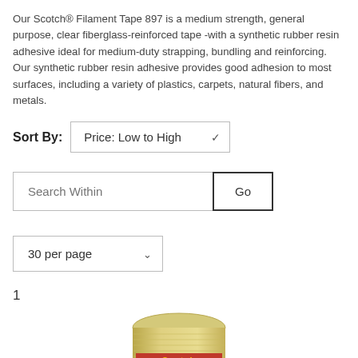Our Scotch® Filament Tape 897 is a medium strength, general purpose, clear fiberglass-reinforced tape -with a synthetic rubber resin adhesive ideal for medium-duty strapping, bundling and reinforcing. Our synthetic rubber resin adhesive provides good adhesion to most surfaces, including a variety of plastics, carpets, natural fibers, and metals.
Sort By: Price: Low to High
Search Within   Go
30 per page
1
[Figure (photo): A roll of Scotch Commercial Grade Filament Tape product]